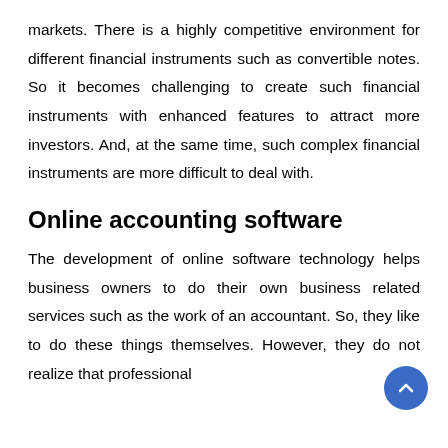markets. There is a highly competitive environment for different financial instruments such as convertible notes. So it becomes challenging to create such financial instruments with enhanced features to attract more investors. And, at the same time, such complex financial instruments are more difficult to deal with.
Online accounting software
The development of online software technology helps business owners to do their own business related services such as the work of an accountant. So, they like to do these things themselves. However, they do not realize that professional